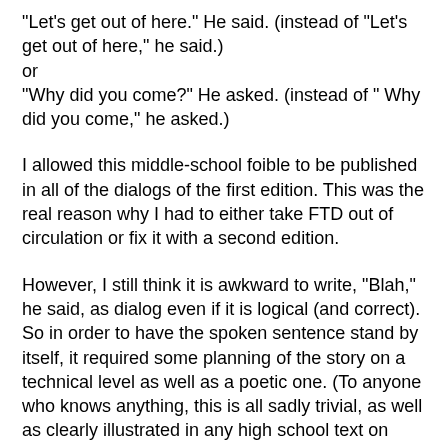“Let’s get out of here.” He said. (instead of “Let’s get out of here,” he said.)
or
“Why did you come?” He asked. (instead of “ Why did you come,” he asked.)
I allowed this middle-school foible to be published in all of the dialogs of the first edition. This was the real reason why I had to either take FTD out of circulation or fix it with a second edition.
However, I still think it is awkward to write, “Blah,” he said, as dialog even if it is logical (and correct). So in order to have the spoken sentence stand by itself, it required some planning of the story on a technical level as well as a poetic one. (To anyone who knows anything, this is all sadly trivial, as well as clearly illustrated in any high school text on writing, but I